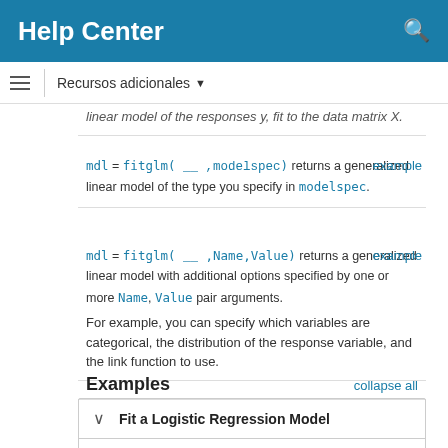Help Center
Recursos adicionales
linear model of the responses y, fit to the data matrix X.
mdl = fitglm( ___ ,modelspec ) returns a generalized linear model of the type you specify in modelspec.
mdl = fitglm( ___ ,Name,Value ) returns a generalized linear model with additional options specified by one or more Name, Value pair arguments.
For example, you can specify which variables are categorical, the distribution of the response variable, and the link function to use.
Examples
Fit a Logistic Regression Model
Make a logistic binomial model of the probability of smoking